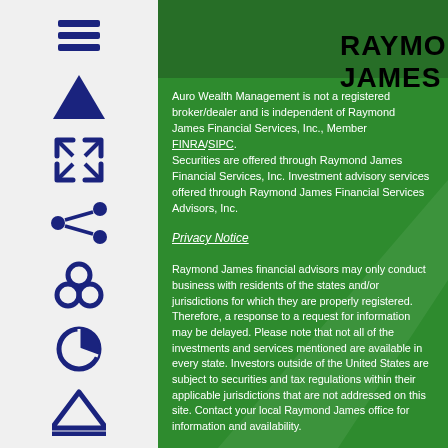[Figure (logo): Raymond James logo text in bold black on dark green header strip]
[Figure (infographic): Left sidebar with navigation icons: hamburger menu, up arrow, expand arrows, network/share icon, redux-like icon, pie chart icon, triangle/delta icon — all in dark navy blue on light gray background]
Auro Wealth Management is not a registered broker/dealer and is independent of Raymond James Financial Services, Inc., Member FINRA/SIPC. Securities are offered through Raymond James Financial Services, Inc. Investment advisory services offered through Raymond James Financial Services Advisors, Inc.
Privacy Notice
Raymond James financial advisors may only conduct business with residents of the states and/or jurisdictions for which they are properly registered. Therefore, a response to a request for information may be delayed. Please note that not all of the investments and services mentioned are available in every state. Investors outside of the United States are subject to securities and tax regulations within their applicable jurisdictions that are not addressed on this site. Contact your local Raymond James office for information and availability.